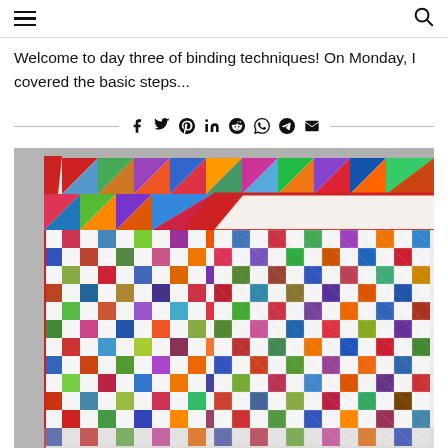Navigation header with hamburger menu and search icon
Welcome to day three of binding techniques! On Monday, I covered the basic steps...
[Figure (other): Social sharing icons row: facebook, twitter, pinterest, linkedin, reddit, whatsapp, telegram, email]
[Figure (photo): Colorful patchwork quilt with pinwheel and checkerboard pattern blocks in many colors, with red binding along the edge, laid flat on a gray surface]